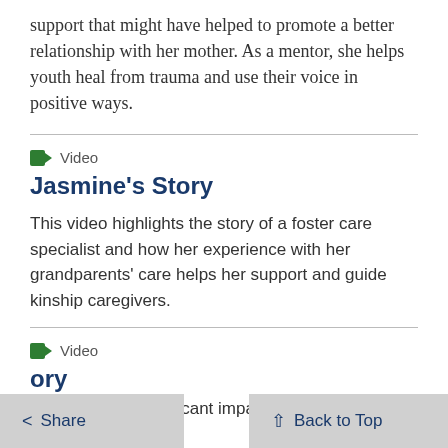support that might have helped to promote a better relationship with her mother. As a mentor, she helps youth heal from trauma and use their voice in positive ways.
Video
Jasmine’s Story
This video highlights the story of a foster care specialist and how her experience with her grandparents’ care helps her support and guide kinship caregivers.
Video
ory
Highlights the significant impact agency staff have
Share
Back to Top